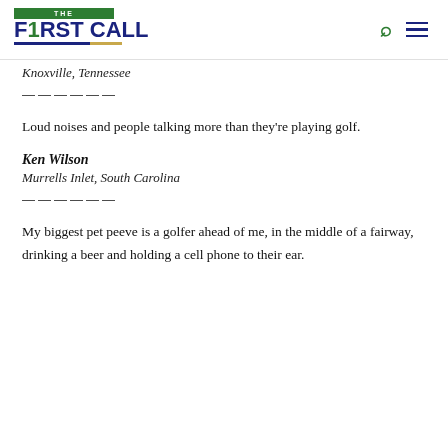THE F1RST CALL
Knoxville, Tennessee
———
Loud noises and people talking more than they're playing golf.
Ken Wilson
Murrells Inlet, South Carolina
———
My biggest pet peeve is a golfer ahead of me, in the middle of a fairway, drinking a beer and holding a cell phone to their ear.